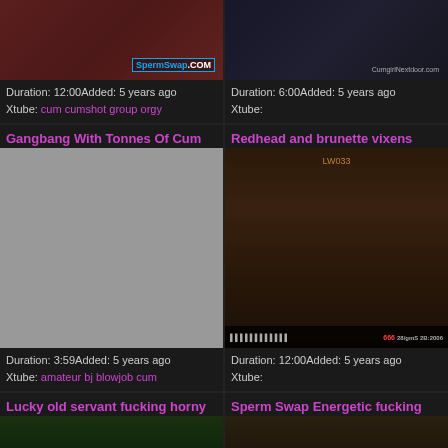[Figure (photo): Video thumbnail top left with SpermSwap.com watermark]
Duration: 12:00Added: 5 years ago
Xtube: cum cumshot group orgy
[Figure (photo): Video thumbnail top right, dark room scene]
Duration: 6:00Added: 5 years ago
Xtube:
Gangbang With Tonnes Of Cum
Redhead and brunette vixens
[Figure (photo): Gray placeholder thumbnail for Gangbang video]
[Figure (photo): Video thumbnail showing redhead and brunette scene]
Duration: 3:59Added: 5 years ago
Xtube: amateur bj blowjob cum
Duration: 12:00Added: 5 years ago
Xtube:
Lucky old servant fucking horny
Sperm Swap Energetic fucking
[Figure (photo): Video thumbnail bottom left partial]
[Figure (photo): Video thumbnail bottom right partial]